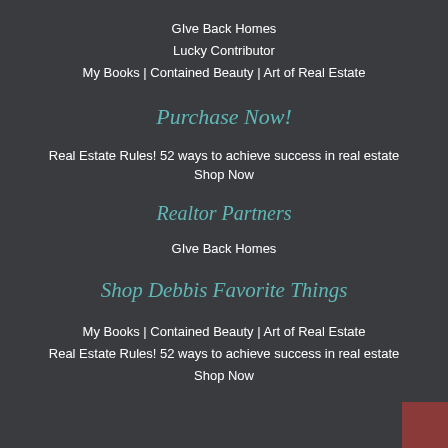GIve Back Homes
Lucky Contributor
My Books | Contained Beauty | Art of Real Estate
Purchase Now!
Real Estate Rules! 52 ways to achieve success in real estate
Shop Now
Realtor Partners
GIve Back Homes
Shop Debbis Favorite Things
My Books | Contained Beauty | Art of Real Estate
Real Estate Rules! 52 ways to achieve success in real estate
Shop Now